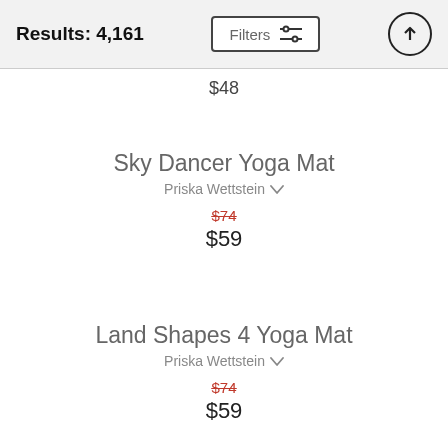Results: 4,161 | Filters
$48
Sky Dancer Yoga Mat
Priska Wettstein
$74
$59
Land Shapes 4 Yoga Mat
Priska Wettstein
$74
$59